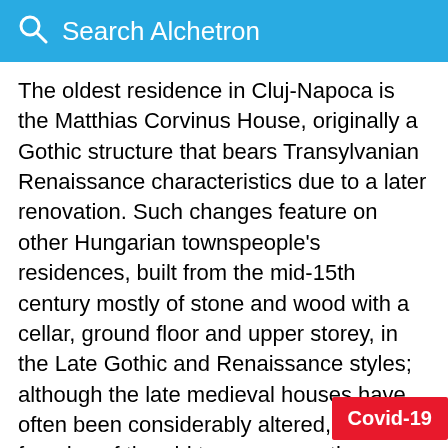Search Alchetron
The oldest residence in Cluj-Napoca is the Matthias Corvinus House, originally a Gothic structure that bears Transylvanian Renaissance characteristics due to a later renovation. Such changes feature on other Hungarian townspeople's residences, built from the mid-15th century mostly of stone and wood with a cellar, ground floor and upper storey, in the Late Gothic and Renaissance styles; although the late medieval houses have often been considerably altered, the street façades of the old town are mostly preserved. St. Michael's Church, the oldest and most representative Gothic-style building in the country, dates back to the 14th century. The oldest of its sections is the altar,
Covid-19